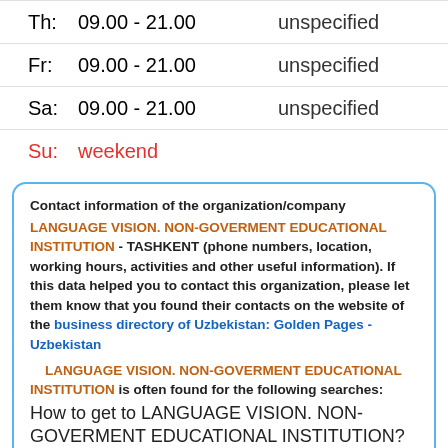Th: 09.00 - 21.00   unspecified
Fr: 09.00 - 21.00   unspecified
Sa: 09.00 - 21.00   unspecified
Su: weekend
Contact information of the organization/company LANGUAGE VISION. NON-GOVERMENT EDUCATIONAL INSTITUTION - TASHKENT (phone numbers, location, working hours, activities and other useful information). If this data helped you to contact this organization, please let them know that you found their contacts on the website of the business directory of Uzbekistan: Golden Pages - Uzbekistan
    LANGUAGE VISION. NON-GOVERMENT EDUCATIONAL INSTITUTION is often found for the following searches:
How to get to LANGUAGE VISION. NON-GOVERMENT EDUCATIONAL INSTITUTION?
How to contact LANGUAGE VISION. NON-GOVERMENT EDUCATIONAL INSTITUTION?